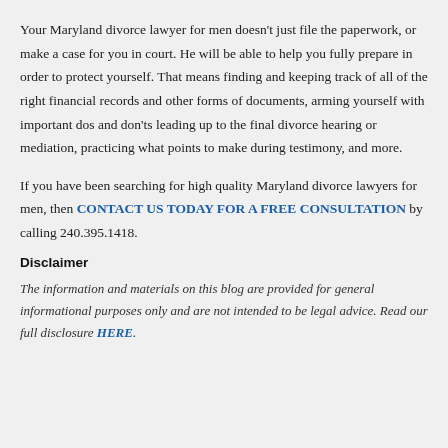Your Maryland divorce lawyer for men doesn't just file the paperwork, or make a case for you in court. He will be able to help you fully prepare in order to protect yourself. That means finding and keeping track of all of the right financial records and other forms of documents, arming yourself with important dos and don'ts leading up to the final divorce hearing or mediation, practicing what points to make during testimony, and more.
If you have been searching for high quality Maryland divorce lawyers for men, then CONTACT US TODAY FOR A FREE CONSULTATION by calling 240.395.1418.
Disclaimer
The information and materials on this blog are provided for general informational purposes only and are not intended to be legal advice. Read our full disclosure HERE.